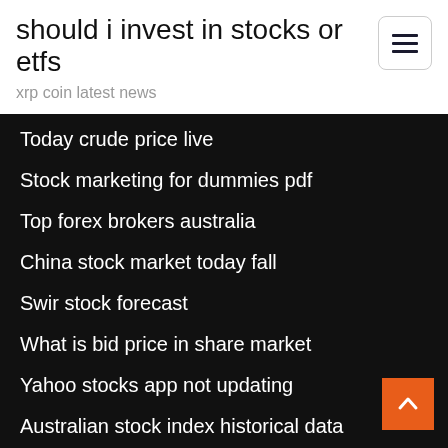should i invest in stocks or etfs
xrp coin latest news
Today crude price live
Stock marketing for dummies pdf
Top forex brokers australia
China stock market today fall
Swir stock forecast
What is bid price in share market
Yahoo stocks app not updating
Australian stock index historical data
Halcon resources corporation share price
Copy trading software